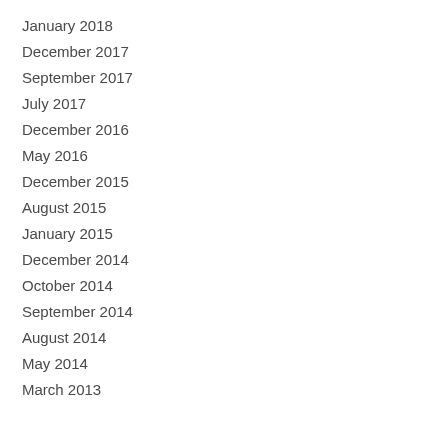January 2018
December 2017
September 2017
July 2017
December 2016
May 2016
December 2015
August 2015
January 2015
December 2014
October 2014
September 2014
August 2014
May 2014
March 2013